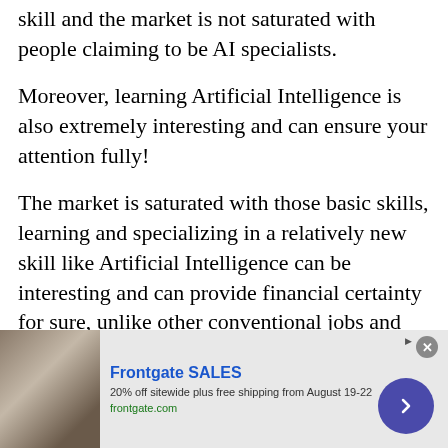skill and the market is not saturated with people claiming to be AI specialists.
Moreover, learning Artificial Intelligence is also extremely interesting and can ensure your attention fully!
The market is saturated with those basic skills, learning and specializing in a relatively new skill like Artificial Intelligence can be interesting and can provide financial certainty for sure, unlike other conventional jobs and careers.
[Figure (other): Advertisement banner for Frontgate SALES showing outdoor furniture image, ad title 'Frontgate SALES', subtitle '20% off sitewide plus free shipping from August 19-22', URL 'frontgate.com', close button, and arrow navigation button]